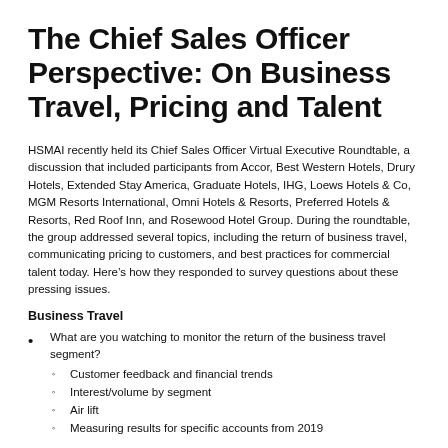The Chief Sales Officer Perspective: On Business Travel, Pricing and Talent
HSMAI recently held its Chief Sales Officer Virtual Executive Roundtable, a discussion that included participants from Accor, Best Western Hotels, Drury Hotels, Extended Stay America, Graduate Hotels, IHG, Loews Hotels & Co, MGM Resorts International, Omni Hotels & Resorts, Preferred Hotels & Resorts, Red Roof Inn, and Rosewood Hotel Group. During the roundtable, the group addressed several topics, including the return of business travel, communicating pricing to customers, and best practices for commercial talent today. Here’s how they responded to survey questions about these pressing issues.
Business Travel
What are you watching to monitor the return of the business travel segment?
Customer feedback and financial trends
Interest/volume by segment
Air lift
Measuring results for specific accounts from 2019